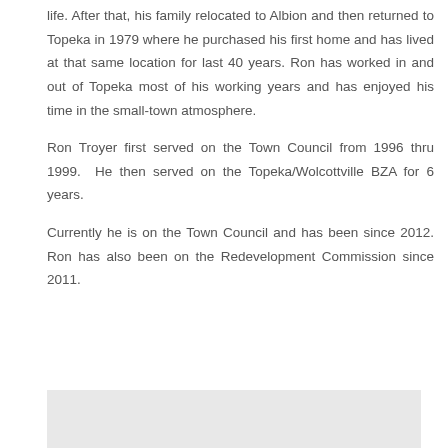life. After that, his family relocated to Albion and then returned to Topeka in 1979 where he purchased his first home and has lived at that same location for last 40 years. Ron has worked in and out of Topeka most of his working years and has enjoyed his time in the small-town atmosphere.
Ron Troyer first served on the Town Council from 1996 thru 1999. He then served on the Topeka/Wolcottville BZA for 6 years.
Currently he is on the Town Council and has been since 2012. Ron has also been on the Redevelopment Commission since 2011.
[Figure (photo): Light gray placeholder image at the bottom of the page]